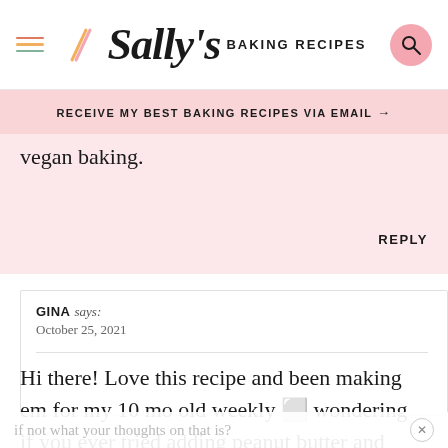[Figure (logo): Sally's Baking Recipes logo with hamburger menu, script logo text, and search button]
RECEIVE MY BEST BAKING RECIPES VIA EMAIL →
vegan baking.
REPLY
GINA says: October 25, 2021
Hi there! Love this recipe and been making em for my 10 mo old weekly 🍪 wondering if you ever tried adding peanut butter and
if not what your thoughts on that is?